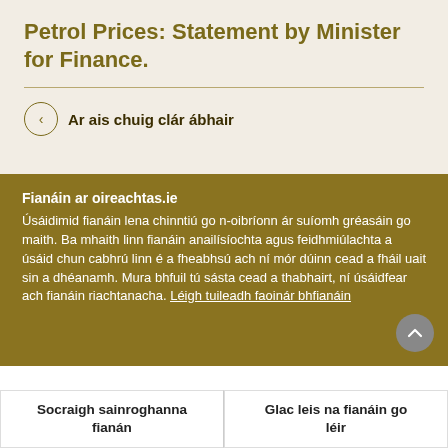Petrol Prices: Statement by Minister for Finance.
Ar ais chuig clár ábhair
Fianáin ar oireachtas.ie
Úsáidimid fianáin lena chinntiú go n-oibríonn ár suíomh gréasáin go maith. Ba mhaith linn fianáin anailísíochta agus feidhmiúlachta a úsáid chun cabhrú linn é a fheabhsú ach ní mór dúinn cead a fháil uait sin a dhéanamh. Mura bhfuil tú sásta cead a thabhairt, ní úsáidfear ach fianáin riachtanacha. Léigh tuileadh faoinár bhfianáin
Socraigh sainroghanna fianán
Glac leis na fianáin go léir